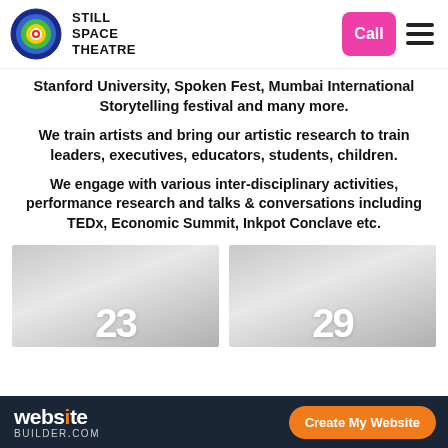Still Space Theatre — navigation header with logo, Call button, and hamburger menu
Stanford University, Spoken Fest, Mumbai International Storytelling festival and many more.
We train artists and bring our artistic research to train leaders, executives, educators, students, children.
We engage with various inter-disciplinary activities, performance research and talks & conversations including TEDx, Economic Summit, Inkpot Conclave etc.
[Figure (photo): Image card showing number 23]
[Figure (photo): Image card showing number 29]
websitebuilder.com — Create My Website